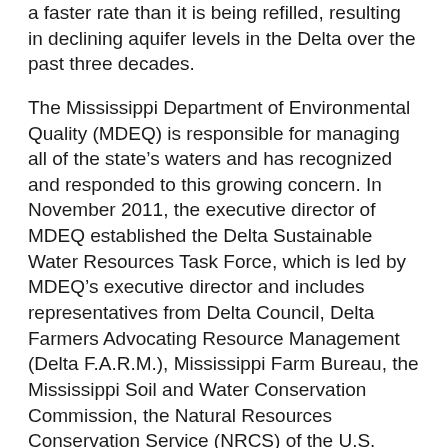a faster rate than it is being refilled, resulting in declining aquifer levels in the Delta over the past three decades.
The Mississippi Department of Environmental Quality (MDEQ) is responsible for managing all of the state's waters and has recognized and responded to this growing concern. In November 2011, the executive director of MDEQ established the Delta Sustainable Water Resources Task Force, which is led by MDEQ's executive director and includes representatives from Delta Council, Delta Farmers Advocating Resource Management (Delta F.A.R.M.), Mississippi Farm Bureau, the Mississippi Soil and Water Conservation Commission, the Natural Resources Conservation Service (NRCS) of the U.S. Department of Agriculture, the Vicksburg District of the U.S. Army Corps of Engineers, and the Yazoo-Mississippi Delta Joint Water Management District. The task force was formalized by Executive Order No. 1341, signed by the governor of Mississippi on August 26, 2014. The task force hasستگ...